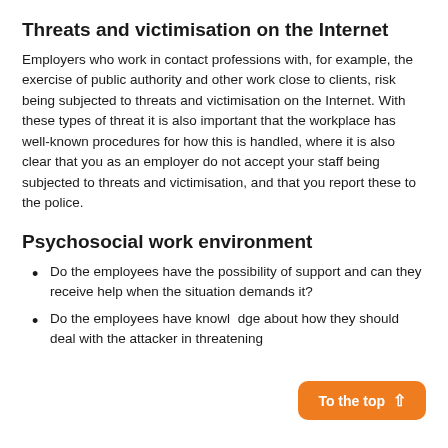Threats and victimisation on the Internet
Employers who work in contact professions with, for example, the exercise of public authority and other work close to clients, risk being subjected to threats and victimisation on the Internet. With these types of threat it is also important that the workplace has well-known procedures for how this is handled, where it is also clear that you as an employer do not accept your staff being subjected to threats and victimisation, and that you report these to the police.
Psychosocial work environment
Do the employees have the possibility of support and can they receive help when the situation demands it?
Do the employees have knowledge about how they should deal with the attacker in threatening